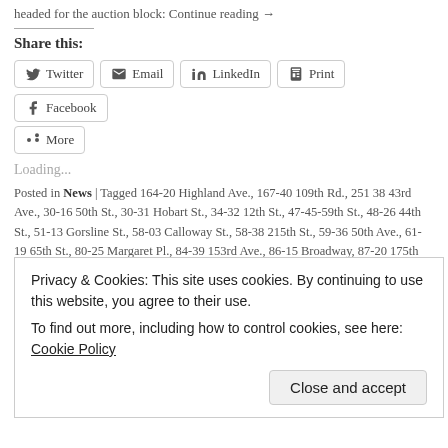headed for the auction block: Continue reading →
Share this:
Twitter | Email | LinkedIn | Print | Facebook | More
Loading...
Posted in News | Tagged 164-20 Highland Ave., 167-40 109th Rd., 251 38 43rd Ave., 30-16 50th St., 30-31 Hobart St., 34-32 12th St., 47-45-59th St., 48-26 44th St., 51-13 Gorsline St., 58-03 Calloway St., 58-38 215th St., 59-36 50th Ave., 61-19 65th St., 80-25 Margaret Pl., 84-39 153rd Ave., 86-15 Broadway, 87-20 175th St., 90-27 214th St., 90-59 56th Ave., 99-40 63rd Rd., Apartments, Auctions, Co-ops,
Privacy & Cookies: This site uses cookies. By continuing to use this website, you agree to their use. To find out more, including how to control cookies, see here: Cookie Policy
Close and accept